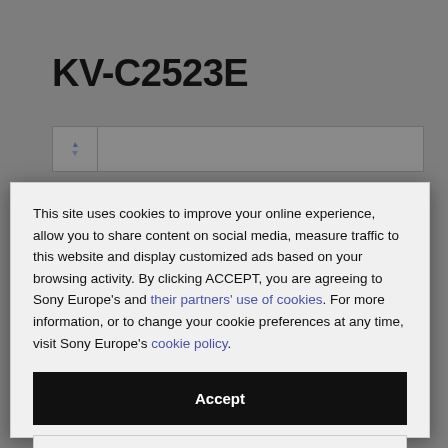KV-C2523E
[Figure (screenshot): Grayed-out background of a Sony support page showing the KV-C2523E product heading and a search/navigation bar]
This site uses cookies to improve your online experience, allow you to share content on social media, measure traffic to this website and display customized ads based on your browsing activity. By clicking ACCEPT, you are agreeing to Sony Europe's and their partners' use of cookies. For more information, or to change your cookie preferences at any time, visit Sony Europe's cookie policy.
Accept
Manage Cookies